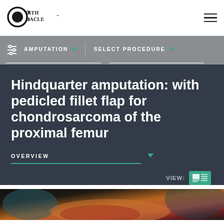[Figure (logo): OrtOracle logo — circular O with 'ORTH ORACLE' text]
AMPUTATION   SELECT PROCEDURE
Hindquarter amputation: with pedicled fillet flap for chondrosarcoma of the proximal femur
OVERVIEW
[Figure (screenshot): Surgical procedure image showing tissue/anatomy in dark tones]